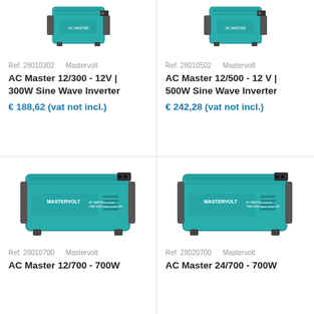[Figure (photo): Mastervolt AC Master 12/300 inverter, teal/turquoise colored device]
Ref. 28010302    Mastervolt
AC Master 12/300 - 12V | 300W Sine Wave Inverter
€ 188,62 (vat not incl.)
[Figure (photo): Mastervolt AC Master 12/500 inverter, teal/turquoise colored device]
Ref. 28010502    Mastervolt
AC Master 12/500 - 12 V | 500W Sine Wave Inverter
€ 242,28 (vat not incl.)
[Figure (photo): Mastervolt AC Master 12/700 inverter, larger teal/turquoise box with MASTERVOLT branding]
Ref. 28010700    Mastervolt
AC Master 12/700 - 700W
[Figure (photo): Mastervolt AC Master 24/700 inverter, larger teal/turquoise box with MASTERVOLT branding]
Ref. 28020700    Mastervolt
AC Master 24/700 - 700W